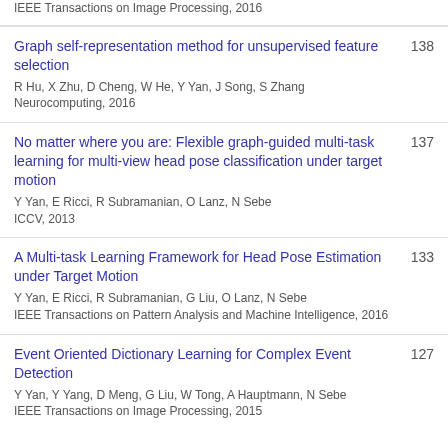IEEE Transactions on Image Processing, 2016
Graph self-representation method for unsupervised feature selection
R Hu, X Zhu, D Cheng, W He, Y Yan, J Song, S Zhang
Neurocomputing, 2016
138
No matter where you are: Flexible graph-guided multi-task learning for multi-view head pose classification under target motion
Y Yan, E Ricci, R Subramanian, O Lanz, N Sebe
ICCV, 2013
137
A Multi-task Learning Framework for Head Pose Estimation under Target Motion
Y Yan, E Ricci, R Subramanian, G Liu, O Lanz, N Sebe
IEEE Transactions on Pattern Analysis and Machine Intelligence, 2016
133
Event Oriented Dictionary Learning for Complex Event Detection
Y Yan, Y Yang, D Meng, G Liu, W Tong, A Hauptmann, N Sebe
IEEE Transactions on Image Processing, 2015
127